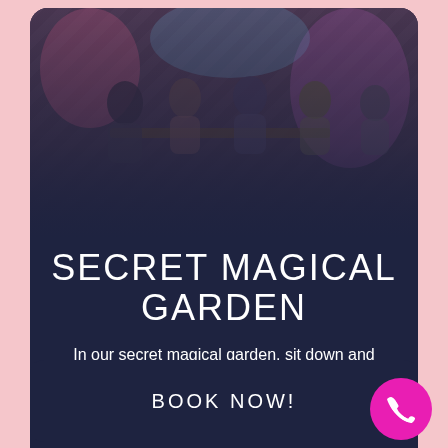[Figure (photo): Indoor party scene with people seated at tables in a colorfully decorated room, overlaid with dark navy background]
SECRET MAGICAL GARDEN
In our secret magical garden, sit down and relax, while your children party!
[Figure (photo): Blurred golden bokeh background image strip]
BOOK NOW!